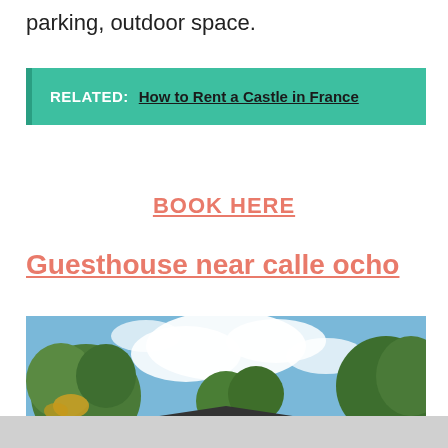parking, outdoor space.
RELATED: How to Rent a Castle in France
BOOK HERE
Guesthouse near calle ocho
[Figure (photo): Outdoor photo showing tropical trees and lush green vegetation against a partly cloudy blue sky, with a dark rooftop visible at the bottom.]